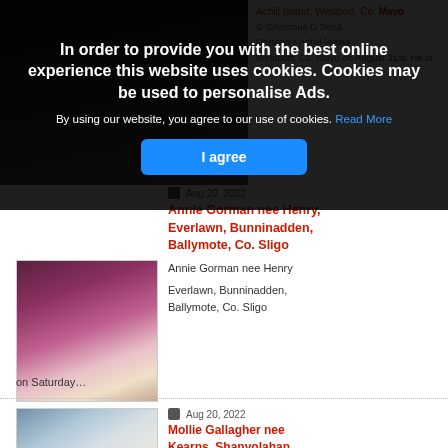[Figure (photo): Dark background photo strip at top left, partially visible portrait]
Achill Island, Westport, Co. Mayo
G Gnambus D Sned.
Darreen's Achill Island
Westport, Co. Mayo on August 31st. He of the...
In order to provide you with the best online experience this website uses cookies. Cookies may be used to personalise Ads.
By using our website, you agree to our use of cookies. Read More
I agree
Aug 20, 2022
Annie Gorman nee Henry, Everlawn, Bunninadden, Ballymote, Co. Sligo
[Figure (photo): Portrait photo of an elderly woman smiling, wearing a purple blouse with white collar and a patterned scarf]
Annie Gorman nee Henry
Everlawn, Bunninadden, Ballymote, Co. Sligo
on Saturday…
Aug 20, 2022
Mollie Gallagher nee Kearns, Shanvolahan, Bellacorick, Ballina, Co. Mayo
[Figure (photo): Portrait photo of an elderly woman with white curly hair and glasses, against a light blue background]